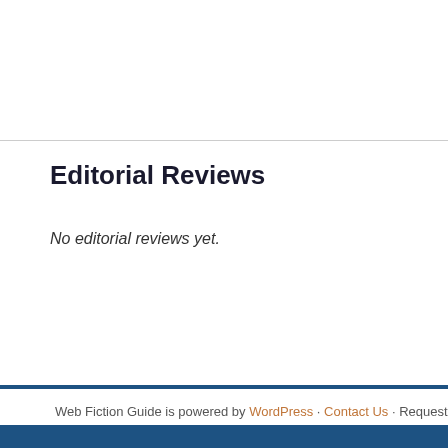Editorial Reviews
No editorial reviews yet.
Web Fiction Guide is powered by WordPress · Contact Us · Request an inv